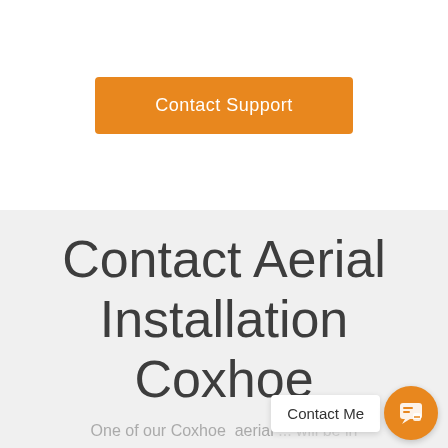[Figure (other): Orange 'Contact Support' button]
Contact Aerial Installation Coxhoe
One of our Coxhoe aerial ... will be in touch in the next 24 hours to book an aerial installation or TV aerial repair